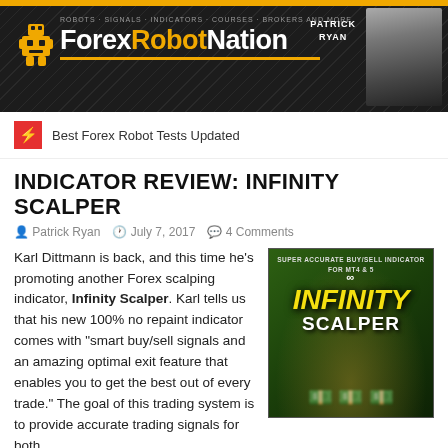[Figure (logo): ForexRobotNation website header banner with logo, robot icon, tagline 'ROBOTS, SIGNALS, INDICATORS, COURSES, BROKERS AND MORE', and photo of Patrick Ryan]
Best Forex Robot Tests Updated
INDICATOR REVIEW: INFINITY SCALPER
Patrick Ryan   July 7, 2017   4 Comments
[Figure (photo): Infinity Scalper product box with green background, showing 'INFINITY SCALPER' in large yellow and white text, with money imagery]
Karl Dittmann is back, and this time he's promoting another Forex scalping indicator, Infinity Scalper. Karl tells us that his new 100% no repaint indicator comes with "smart buy/sell signals and an amazing optimal exit feature that enables you to get the best out of every trade." The goal of this trading system is to provide accurate trading signals for both